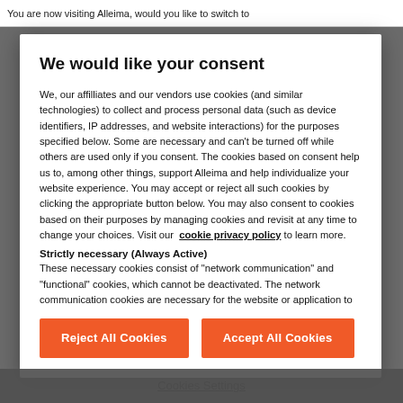You are now visiting Alleima, would you like to switch to
We would like your consent
We, our affilliates and our vendors use cookies (and similar technologies) to collect and process personal data (such as device identifiers, IP addresses, and website interactions) for the purposes specified below. Some are necessary and can't be turned off while others are used only if you consent. The cookies based on consent help us to, among other things, support Alleima and help individualize your website experience. You may accept or reject all such cookies by clicking the appropriate button below. You may also consent to cookies based on their purposes by managing cookies and revisit at any time to change your choices. Visit our cookie privacy policy to learn more.
Strictly necessary (Always Active)
These necessary cookies consist of "network communication" and "functional" cookies, which cannot be deactivated. The network communication cookies are necessary for the website or application to
Reject All Cookies
Accept All Cookies
Cookies Settings